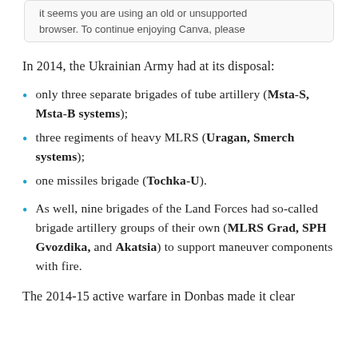it seems you are using an old or unsupported browser. To continue enjoying Canva, please
In 2014, the Ukrainian Army had at its disposal:
only three separate brigades of tube artillery (Msta-S, Msta-B systems);
three regiments of heavy MLRS (Uragan, Smerch systems);
one missiles brigade (Tochka-U).
As well, nine brigades of the Land Forces had so-called brigade artillery groups of their own (MLRS Grad, SPH Gvozdika, and Akatsia) to support maneuver components with fire.
The 2014-15 active warfare in Donbas made it clear